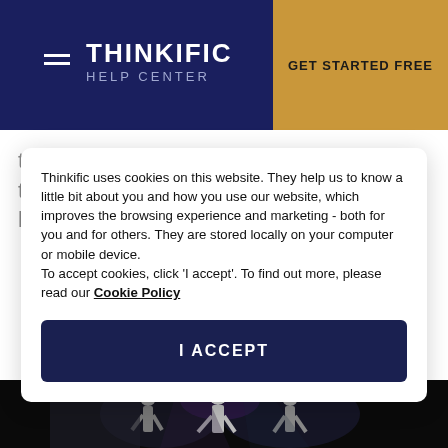THINKIFIC HELP CENTER | GET STARTED FREE
the large majority of instructors find that they have no issues at all with videos loading slowly.
Thinkific uses cookies on this website. They help us to know a little bit about you and how you use our website, which improves the browsing experience and marketing - both for you and for others. They are stored locally on your computer or mobile device.
To accept cookies, click 'I accept'. To find out more, please read our Cookie Policy
I ACCEPT
[Figure (photo): Performers on stage with lights in background]